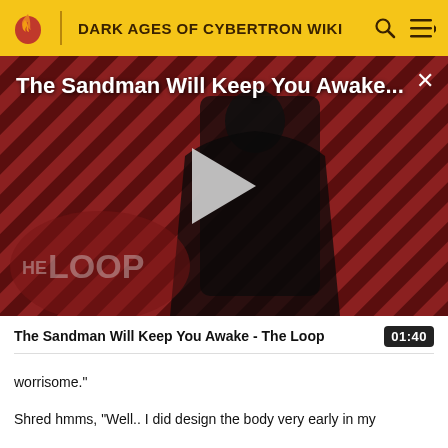DARK AGES OF CYBERTRON WIKI
[Figure (screenshot): Video thumbnail for 'The Sandman Will Keep You Awake - The Loop' showing a dark figure in black against a red diagonal striped background with The Loop watermark and a play button overlay.]
The Sandman Will Keep You Awake - The Loop  01:40
worrisome."
Shred hmms, "Well.. I did design the body very early in my